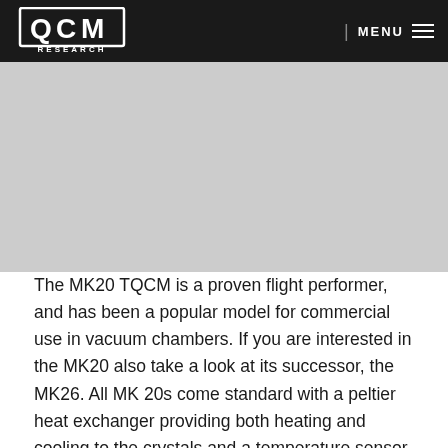QCM Research | MENU
[Figure (photo): Product image area showing the MK20 TQCM device (gray placeholder)]
The MK20 TQCM is a proven flight performer, and has been a popular model for commercial use in vacuum chambers. If you are interested in the MK20 also take a look at its successor, the MK26. All MK 20s come standard with a peltier heat exchanger providing both heating and cooling to the crystals and a temperature sensor to report